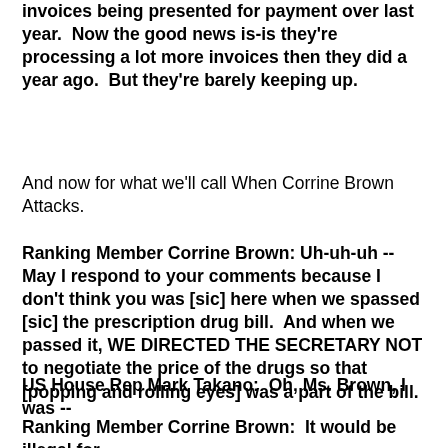invoices being presented for payment over last year.  Now the good news is-is they're processing a lot more invoices then they did a year ago.  But they're barely keeping up.
And now for what we'll call When Corrine Brown Attacks.
Ranking Member Corrine Brown: Uh-uh-uh -- May I respond to your comments because I don't think you was [sic] here when we spassed [sic] the prescription drug bill.  And when we passed it, WE DIRECTED THE SECRETARY NOT to negotiate the price of the drugs so that [popping and rolling eyes] was a part of the bill.
US House Rep Mark Takano:  Oh, Ms. Brown, I was --
Ranking Member Corrine Brown:  It would be illegal for